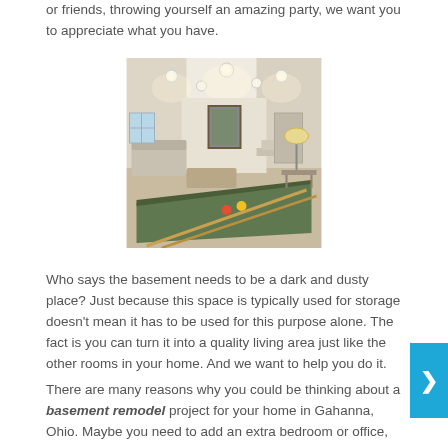or friends, throwing yourself an amazing party, we want you to appreciate what you have.
[Figure (photo): Interior photo of a finished basement with recessed lighting, a framed picture on the wall, seating area, and what appears to be a pool/billiards table in the foreground with cues visible.]
Who says the basement needs to be a dark and dusty place? Just because this space is typically used for storage doesn't mean it has to be used for this purpose alone. The fact is you can turn it into a quality living area just like the other rooms in your home. And we want to help you do it.
There are many reasons why you could be thinking about a basement remodel project for your home in Gahanna, Ohio. Maybe you need to add an extra bedroom or office, or you